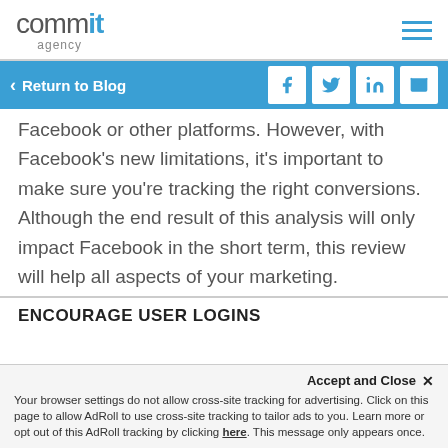commit agency
Return to Blog
Facebook or other platforms. However, with Facebook's new limitations, it's important to make sure you're tracking the right conversions. Although the end result of this analysis will only impact Facebook in the short term, this review will help all aspects of your marketing.
ENCOURAGE USER LOGINS
Accept and Close ✕ Your browser settings do not allow cross-site tracking for advertising. Click on this page to allow AdRoll to use cross-site tracking to tailor ads to you. Learn more or opt out of this AdRoll tracking by clicking here. This message only appears once.